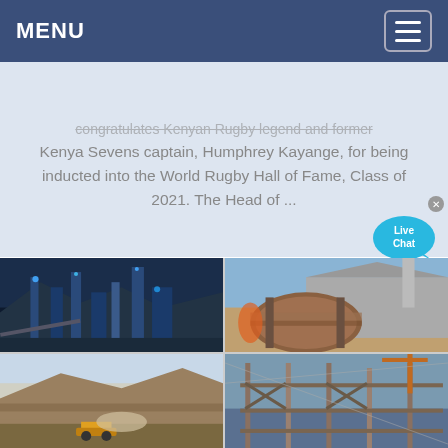MENU
congratulates Kenyan Rugby legend and former Kenya Sevens captain, Humphrey Kayange, for being inducted into the World Rugby Hall of Fame, Class of 2021. The Head of ...
[Figure (photo): Live Chat bubble widget in bottom right of text card area]
[Figure (photo): Grid of four industrial/mining facility photographs: top-left shows an industrial plant with lit blue steel structures at night; top-right shows a large rotary kiln drum closeup with industrial structures behind; bottom-left shows a mining quarry with heavy machinery and dust; bottom-right shows steel construction framework at an industrial site.]